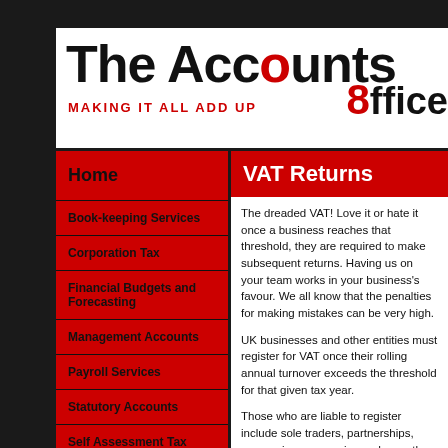[Figure (logo): The Accounts Office logo with tagline MAKING IT ALL ADD UP]
Home
Book-keeping Services
Corporation Tax
Financial Budgets and Forecasting
Management Accounts
Payroll Services
Statutory Accounts
Self Assessment Tax Returns
VAT Returns
VAT Returns
The dreaded VAT! Love it or hate it once a business reaches that threshold, they are required to make subsequent returns. Having us on your team works in your business's favour. We all know that the penalties for making mistakes with VAT can be very high.
UK businesses and other entities must register for VAT once their rolling annual turnover exceeds the threshold for that given tax year.
Those who are liable to register for VAT include sole traders, partnerships, companies, clubs, associations or any other group of people acting together under a name.
The only exceptions are